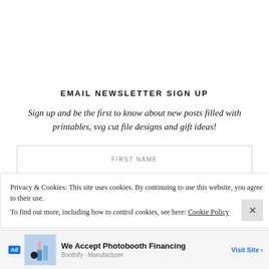EMAIL NEWSLETTER SIGN UP
Sign up and be the first to know about new posts filled with printables, svg cut file designs and gift ideas!
FIRST NAME
LAST NAME
Privacy & Cookies: This site uses cookies. By continuing to use this website, you agree to their use. To find out more, including how to control cookies, see here: Cookie Policy
[Figure (screenshot): Advertisement banner: We Accept Photobooth Financing - Boothify - Manufacturer - Visit Site]